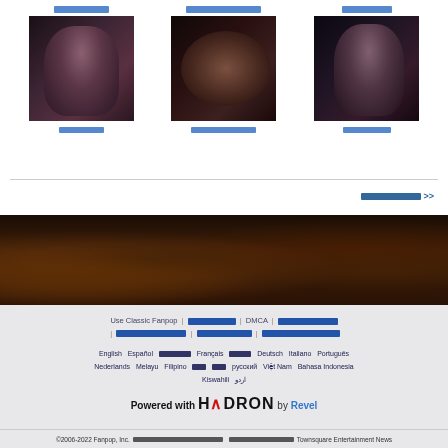[Figure (photo): Gallery row showing three movie/celebrity thumbnails with captions in Hindi/Devanagari script above and below each image]
>> (more link in Hindi script)
[Figure (photo): Dark moody banner image with silhouetted figures in warm dark tones]
Use Classic Fanpop | [Hindi text] | DMCA | [Hindi text] | [Hindi text] | [Hindi text] | [Hindi text]
English | Español | [Hindi] | Français | [Hindi] | Deutsch | Italiano | Português | Nederlands | Melayu | Filipino | [Korean] | русский | Việt Nam | Bahasa Indonesia | Kiswahili | اردو
[Figure (logo): Powered with HADRON by Revel logo]
©2006-2022 Fanpop, Inc. [Hindi text]. Townsquare Entertainment News